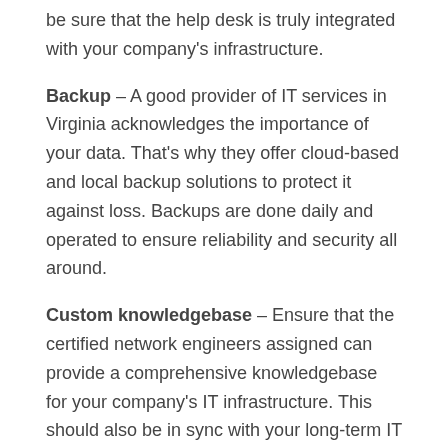be sure that the help desk is truly integrated with your company's infrastructure.
Backup – A good provider of IT services in Virginia acknowledges the importance of your data. That's why they offer cloud-based and local backup solutions to protect it against loss. Backups are done daily and operated to ensure reliability and security all around.
Custom knowledgebase – Ensure that the certified network engineers assigned can provide a comprehensive knowledgebase for your company's IT infrastructure. This should also be in sync with your long-term IT requirements.
All their solutions must be provided to you at a fraction of the cost associated with hiring an in-house IT team. That said, low cost does not necessarily mean low-quality. Hence, hire experts who have at least a decade's worth of experience in providing high-quality IT services in Virginia.